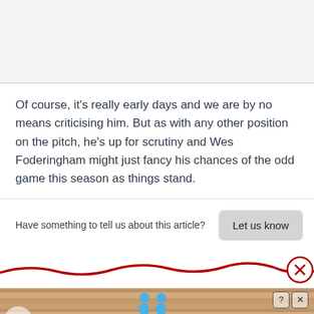[Figure (other): Gray background area at top of page, likely an image placeholder or advertisement area]
Of course, it's really early days and we are by no means criticising him. But as with any other position on the pitch, he's up for scrutiny and Wes Foderingham might just fancy his chances of the odd game this season as things stand.
Have something to tell us about this article?
[Figure (screenshot): Interactive 'Let us know' button with gray rounded rectangle background]
[Figure (other): Red wavy line with red circle X close button at the right end]
[Figure (screenshot): Advertisement banner for 'Hold and Move' app featuring blue cartoon figures, with help and close icons in top right corner]